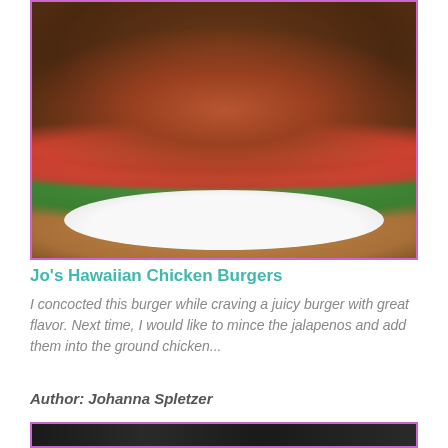[Figure (photo): Photo of a Hawaiian chicken burger on a white plate, with lettuce, tomato slices, melted white cheese, and a toasted sesame bun, shot on a wooden table]
Jo's Hawaiian Chicken Burgers
I concocted this burger while craving a juicy burger with great flavor. Next time, I would like to mince the jalapenos and add them into the ground chicken...
Author: Johanna Spletzer
[Figure (photo): Partial photo visible at bottom of page, dark background]